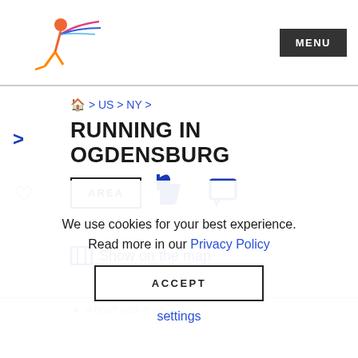MENU
🏠 > US > NY >
RUNNING IN OGDENSBURG
AREA | [like icon] [comment icon]
🗺 Show on the map
▲ About sea level
We use cookies for your best experience. Read more in our Privacy Policy
ACCEPT
settings